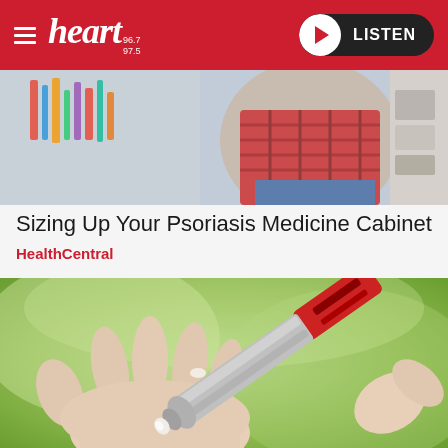heart 96.7 97.5 — LISTEN
[Figure (photo): Partial view of a person sitting, wearing a plaid shirt and jeans, near colorful items on a wall and a desk with items in the background]
Sizing Up Your Psoriasis Medicine Cabinet
HealthCentral
[Figure (photo): Close-up of hands applying cream from a small silver tube to an open palm, with a green blurred background]